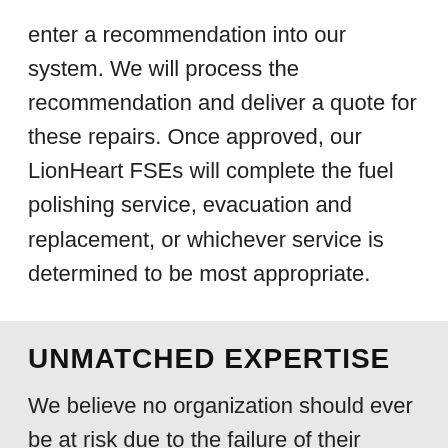enter a recommendation into our system. We will process the recommendation and deliver a quote for these repairs. Once approved, our LionHeart FSEs will complete the fuel polishing service, evacuation and replacement, or whichever service is determined to be most appropriate.
UNMATCHED EXPERTISE
We believe no organization should ever be at risk due to the failure of their critical power systems. LionHeart is the team you need for